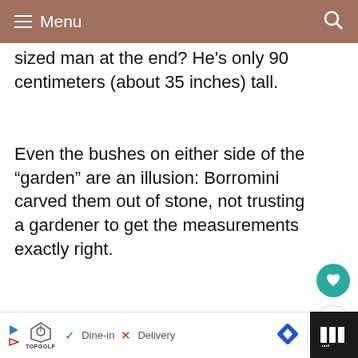Menu
sized man at the end? He's only 90 centimeters (about 35 inches) tall.
Even the bushes on either side of the “garden” are an illusion: Borromini carved them out of stone, not trusting a gardener to get the measurements exactly right.
[Figure (photo): Interior view of a Renaissance colonnade corridor with arched ceiling and stone columns, perspective view showing diminishing archways]
WHAT'S NEXT → 15 Best Views of Rome (+...